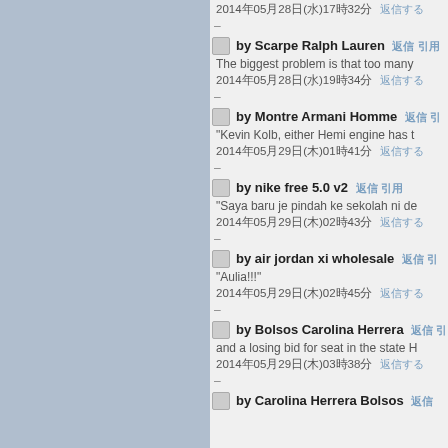2014年05月28日(水)17時32分 返信する
by Scarpe Ralph Lauren 返信 引用
The biggest problem is that too many
2014年05月28日(水)19時34分 返信する
by Montre Armani Homme 返信 引
"Kevin Kolb, either Hemi engine has t
2014年05月29日(木)01時41分 返信する
by nike free 5.0 v2 返信 引用
"Saya baru je pindah ke sekolah ni de
2014年05月29日(木)02時43分 返信する
by air jordan xi wholesale 返信 引
"Aulia!!!"
2014年05月29日(木)02時45分 返信する
by Bolsos Carolina Herrera 返信 引
and a losing bid for seat in the state H
2014年05月29日(木)03時38分 返信する
by Carolina Herrera Bolsos